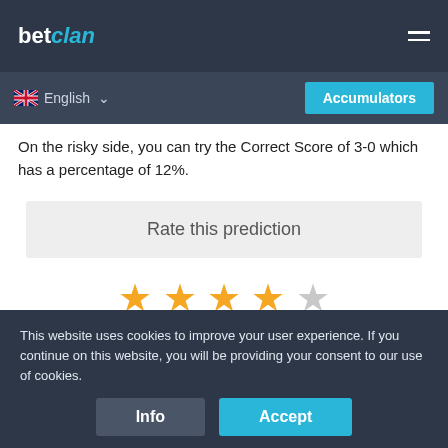betclan
English
Accumulators
On the risky side, you can try the Correct Score of 3-0 which has a percentage of 12%.
Rate this prediction
[Figure (other): 4 out of 5 stars rating (4 filled orange stars and 1 empty grey star)]
[Figure (other): Android App on Google Play badge with play store triangle logo]
This website uses cookies to improve your user experience. If you continue on this website, you will be providing your consent to our use of cookies.
Info
Accept